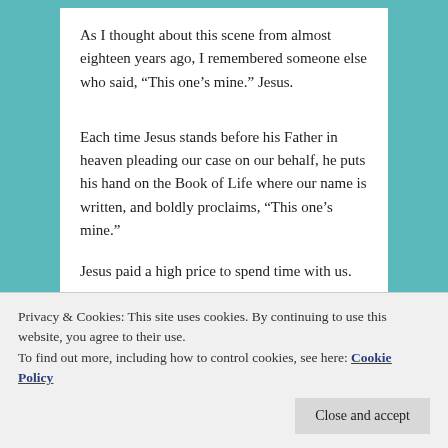As I thought about this scene from almost eighteen years ago, I remembered someone else who said, “This one’s mine.” Jesus.
Each time Jesus stands before his Father in heaven pleading our case on our behalf, he puts his hand on the Book of Life where our name is written, and boldly proclaims, “This one’s mine.”
Jesus paid a high price to spend time with us.
He left his throne in glory to come to earth and live
Privacy & Cookies: This site uses cookies. By continuing to use this website, you agree to their use.
To find out more, including how to control cookies, see here: Cookie Policy